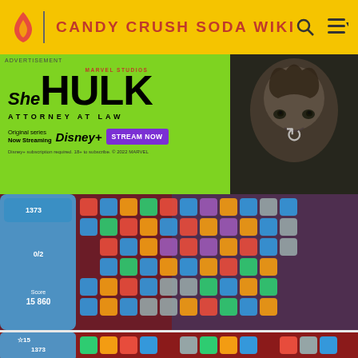CANDY CRUSH SODA WIKI
[Figure (screenshot): She-Hulk Attorney at Law advertisement on green background with Disney+ Stream Now button and woman's face on right side]
[Figure (screenshot): Candy Crush Soda gameplay screenshot showing level 1373 with score 15,860 and colorful candy board]
[Figure (screenshot): Candy Crush Soda gameplay screenshot partial view showing level 1373 with 15 moves remaining]